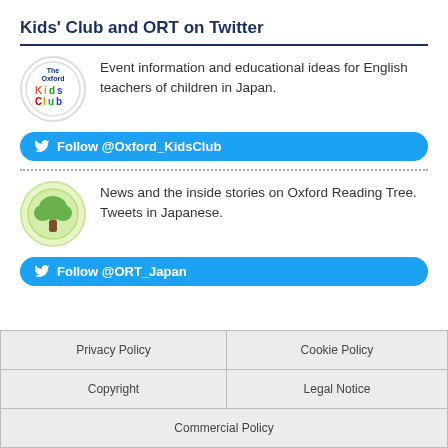Kids' Club and ORT on Twitter
Event information and educational ideas for English teachers of children in Japan.
Follow @Oxford_KidsClub
News and the inside stories on Oxford Reading Tree. Tweets in Japanese.
Follow @ORT_Japan
| Privacy Policy | Cookie Policy |
| Copyright | Legal Notice |
| Commercial Policy |  |